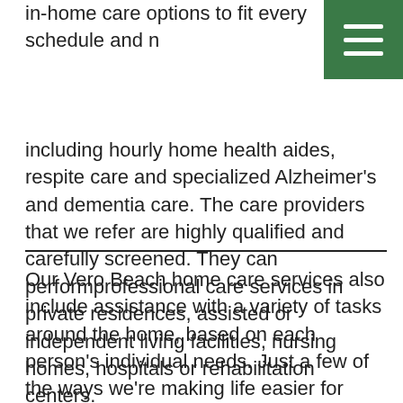in-home care options to fit every schedule and need, including hourly home health aides, respite care and specialized Alzheimer's and dementia care. The care providers that we refer are highly qualified and carefully screened. They can performprofessional care services in private residences, assisted or independent living facilities, nursing homes, hospitals or rehabilitation centers.
Our Vero Beach home care services also include assistance with a variety of tasks around the home, based on each person's individual needs. Just a few of the ways we're making life easier for older adults include: